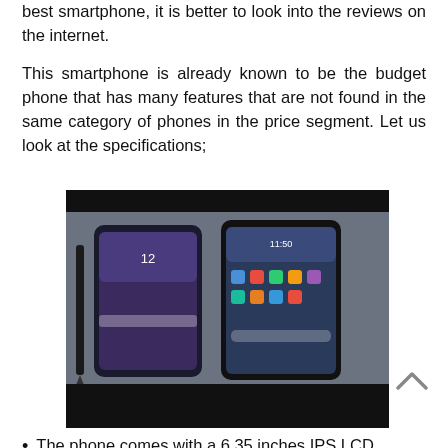best smartphone, it is better to look into the reviews on the internet.
This smartphone is already known to be the budget phone that has many features that are not found in the same category of phones in the price segment. Let us look at the specifications;
[Figure (photo): Two smartphones (likely Samsung Galaxy Note and Huawei Mate) photographed from above on a dark surface, with a stylus pen visible next to them.]
The phone comes with a 6.35 inches IPS LCD